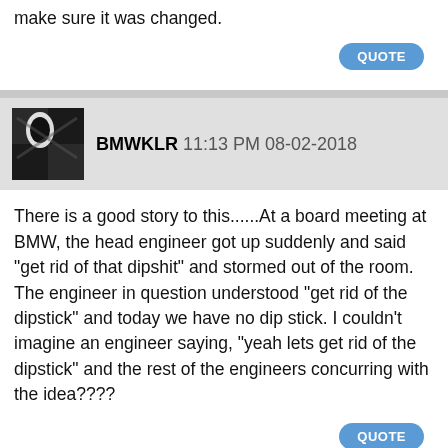make sure it was changed.
QUOTE
BMWKLR 11:13 PM 08-02-2018
There is a good story to this......At a board meeting at BMW, the head engineer got up suddenly and said "get rid of that dipshit" and stormed out of the room. The engineer in question understood "get rid of the dipstick" and today we have no dip stick. I couldn't imagine an engineer saying, "yeah lets get rid of the dipstick" and the rest of the engineers concurring with the idea????
QUOTE
Taoster 01:34 AM 08-03-2018
the logical conclusion is that BMW, along with multiple